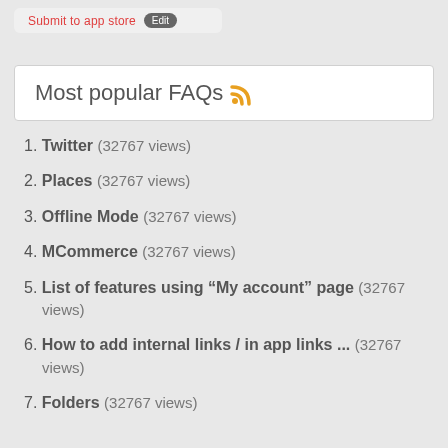[Figure (screenshot): Top bar with 'Submit to app store' text in red and a dark oval button]
Most popular FAQs
1. Twitter (32767 views)
2. Places (32767 views)
3. Offline Mode (32767 views)
4. MCommerce (32767 views)
5. List of features using “My account” page (32767 views)
6. How to add internal links / in app links ... (32767 views)
7. Folders (32767 views)